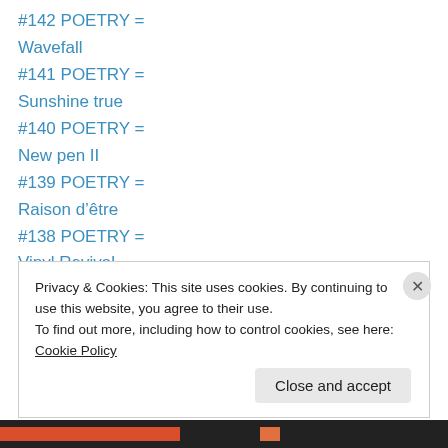#142 POETRY =
Wavefall
#141 POETRY =
Sunshine true
#140 POETRY =
New pen II
#139 POETRY =
Raison d’être
#138 POETRY =
Vinyl Revival
#137 POETRY =
Complete II
#136 POETRY =
Privacy & Cookies: This site uses cookies. By continuing to use this website, you agree to their use.
To find out more, including how to control cookies, see here: Cookie Policy
Close and accept